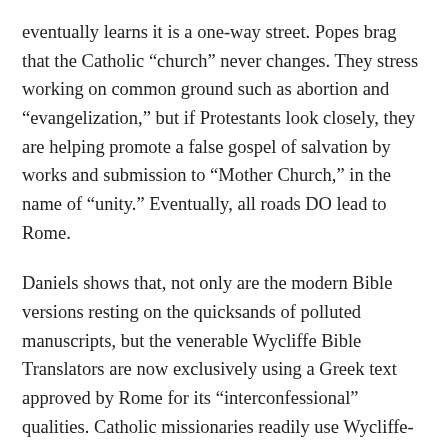eventually learns it is a one-way street. Popes brag that the Catholic “church” never changes. They stress working on common ground such as abortion and “evangelization,” but if Protestants look closely, they are helping promote a false gospel of salvation by works and submission to “Mother Church,” in the name of “unity.” Eventually, all roads DO lead to Rome.
Daniels shows that, not only are the modern Bible versions resting on the quicksands of polluted manuscripts, but the venerable Wycliffe Bible Translators are now exclusively using a Greek text approved by Rome for its “interconfessional” qualities. Catholic missionaries readily use Wycliffe-SIL translations to entice native tribes into Rome’s spider web of baptized paganism. Only Bible-believers, who trust God’s preserved words in the King James Bible, are equipped to resist the tide toward one world Bible for one world religion.